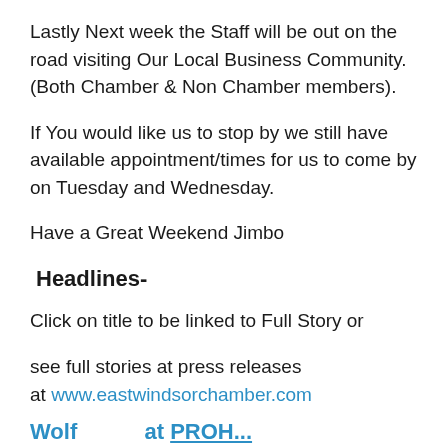Lastly Next week the Staff will be out on the road visiting Our Local Business Community. (Both Chamber & Non Chamber members).
If You would like us to stop by we still have available appointment/times for us to come by on Tuesday and Wednesday.
Have a Great Weekend Jimbo
Headlines-
Click on title to be linked to Full Story or
see full stories at press releases at www.eastwindsorchamber.com
Wolfaaa…at PROH…